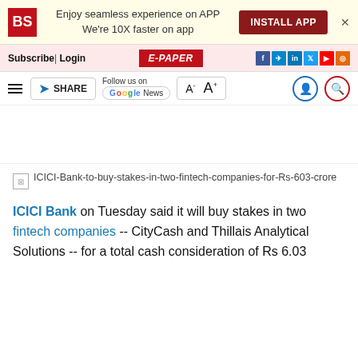[Figure (screenshot): Business Standard app install banner with BS logo, text 'Enjoy seamless experience on APP We're 10X faster on app', and INSTALL APP button]
Subscribe| Login   E-PAPER   [social icons: f, telegram, in, twitter, youtube, rss]
[Figure (screenshot): Toolbar with hamburger menu, SHARE button, Follow us on Google News, font size controls A- A+, user and search icons]
[Figure (photo): Broken image placeholder: ICICI-Bank-to-buy-stakes-in-two-fintech-companies-for-Rs-603-crore]
ICICI Bank on Tuesday said it will buy stakes in two fintech companies -- CityCash and Thillais Analytical Solutions -- for a total cash consideration of Rs 6.03